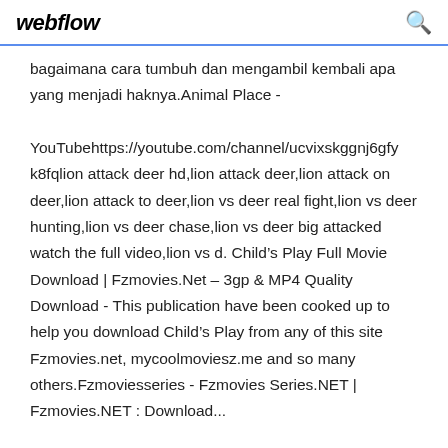webflow
bagaimana cara tumbuh dan mengambil kembali apa yang menjadi haknya.Animal Place - YouTubehttps://youtube.com/channel/ucvixskggnj6gfyk8fqlion attack deer hd,lion attack deer,lion attack on deer,lion attack to deer,lion vs deer real fight,lion vs deer hunting,lion vs deer chase,lion vs deer big attacked watch the full video,lion vs d. Child’s Play Full Movie Download | Fzmovies.Net – 3gp & MP4 Quality Download - This publication have been cooked up to help you download Child’s Play from any of this site Fzmovies.net, mycoolmoviesz.me and so many others.Fzmoviesseries - Fzmovies Series.NET | Fzmovies.NET : Download...